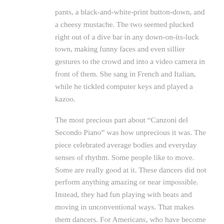pants, a black-and-white-print button-down, and a cheesy mustache. The two seemed plucked right out of a dive bar in any down-on-its-luck town, making funny faces and even sillier gestures to the crowd and into a video camera in front of them. She sang in French and Italian, while he tickled computer keys and played a kazoo.
The most precious part about “Canzoni del Secondo Piano” was how unprecious it was. The piece celebrated average bodies and everyday senses of rhythm. Some people like to move. Some are really good at it. These dancers did not perform anything amazing or near impossible. Instead, they had fun playing with beats and moving in unconventional ways. That makes them dancers. For Americans, who have become used to viewing spectacles and feats of grandeur, it’s refreshing to see people making a dance out of everyday life.